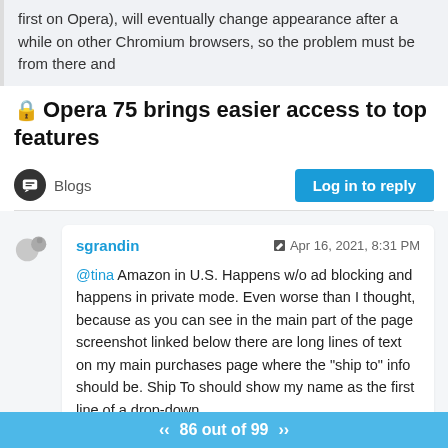first on Opera), will eventually change appearance after a while on other Chromium browsers, so the problem must be from there and
🔒Opera 75 brings easier access to top features
Blogs
Log in to reply
sgrandin  Apr 16, 2021, 8:31 PM
@tina Amazon in U.S. Happens w/o ad blocking and happens in private mode. Even worse than I thought, because as you can see in the main part of the page screenshot linked below there are long lines of text on my main purchases page where the "ship to" info should be. Ship To should show my name as the first line of a drop-down
86 out of 99